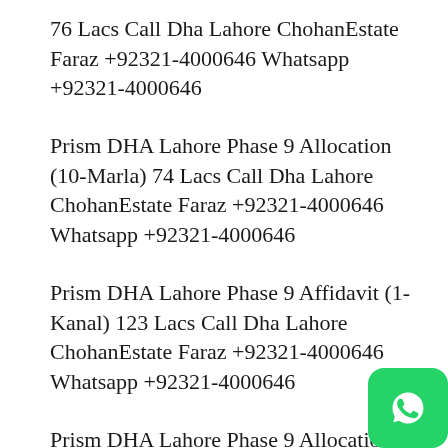76 Lacs Call Dha Lahore ChohanEstate Faraz +92321-4000646 Whatsapp +92321-4000646
Prism DHA Lahore Phase 9 Allocation (10-Marla) 74 Lacs Call Dha Lahore ChohanEstate Faraz +92321-4000646 Whatsapp +92321-4000646
Prism DHA Lahore Phase 9 Affidavit (1-Kanal) 123 Lacs Call Dha Lahore ChohanEstate Faraz +92321-4000646 Whatsapp +92321-4000646
Prism DHA Lahore Phase 9 Allocation (1-Kanal) 120 Lacs Call Dha Lahore ChohanEstate Faraz +92321-4000646 Whatsapp +92321-4000646
[Figure (logo): WhatsApp green logo icon in bottom right corner]